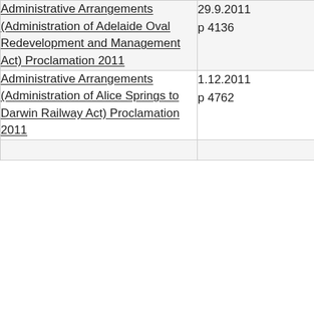| Title | Reference |
| --- | --- |
| Administrative Arrangements (Administration of Adelaide Oval Redevelopment and Management Act) Proclamation 2011 | 29.9.2011
p 4136 |
| Administrative Arrangements (Administration of Alice Springs to Darwin Railway Act) Proclamation 2011 | 1.12.2011
p 4762 |
|  |  |